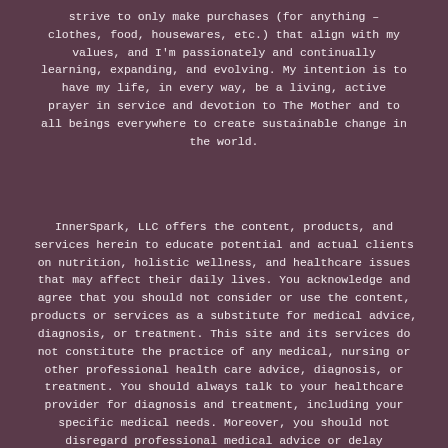strive to only make purchases (for anything – clothes, food, housewares, etc.) that align with my values, and I'm passionately and continually learning, expanding, and evolving. My intention is to have my life, in every way, be a living, active prayer in service and devotion to The Mother and to all beings everywhere to create sustainable change in the world.
InnerSpark, LLC offers the content, products, and services herein to educate potential and actual clients on nutrition, holistic wellness, and healthcare issues that may affect their daily lives. You acknowledge and agree that you should not consider or use the content, products or services as a substitute for medical advice, diagnosis, or treatment. This site and its services do not constitute the practice of any medical, nursing or other professional health care advice, diagnosis, or treatment. You should always talk to your healthcare provider for diagnosis and treatment, including your specific medical needs. Moreover, you should not disregard professional medical advice or delay